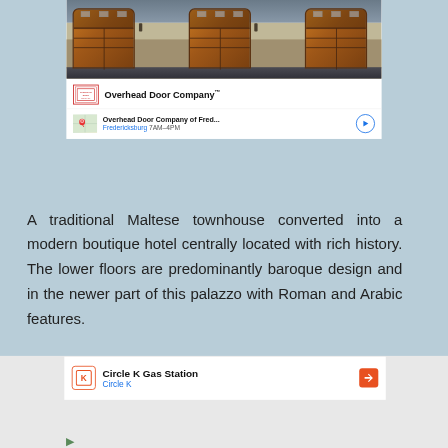[Figure (photo): Three wooden garage doors on a house, Overhead Door Company advertisement]
Overhead Door Company™
Overhead Door Company of Fred...
Fredericksburg 7AM–4PM
A traditional Maltese townhouse converted into a modern boutique hotel centrally located with rich history. The lower floors are predominantly baroque design and in the newer part of this palazzo with Roman and Arabic features.
Circle K Gas Station
Circle K